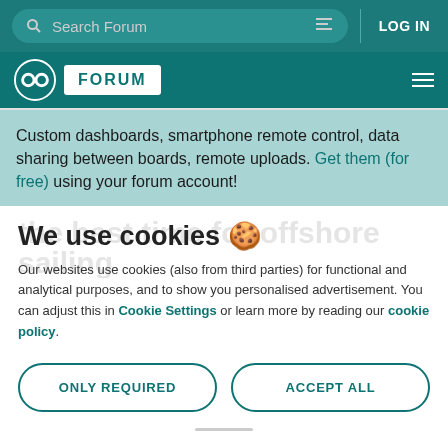Search Forum | LOG IN
[Figure (logo): Arduino Forum logo with infinity symbol and FORUM badge on teal background]
Custom dashboards, smartphone remote control, data sharing between boards, remote uploads. Get them (for free) using your forum account!
We use cookies 🍪
Our websites use cookies (also from third parties) for functional and analytical purposes, and to show you personalised advertisement. You can adjust this in Cookie Settings or learn more by reading our cookie policy.
ONLY REQUIRED
ACCEPT ALL